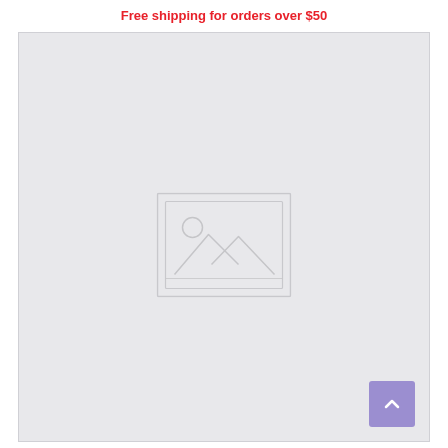Free shipping for orders over $50
[Figure (illustration): Large light gray content area with a centered image placeholder icon (mountain/landscape placeholder graphic) and a purple scroll-to-top button in the bottom right corner]